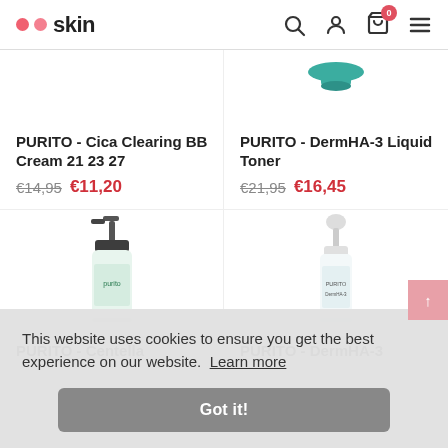••skin — website header with logo and navigation icons (search, account, cart with 0 badge, menu)
[Figure (photo): Partial top of PURITO DermHA-3 Liquid Toner product — teal/green lid visible at top right]
PURITO - Cica Clearing BB Cream 21 23 27
€14,95  €11,20
PURITO - DermHA-3 Liquid Toner
€21,95  €16,45
[Figure (photo): PURITO Centella product bottle with dark pump top and green/white bottle body]
[Figure (photo): PURITO DermHA-3 dropper bottle, white with dropper top]
PURITO - Centella
PURITO - DermHA-3
This website uses cookies to ensure you get the best experience on our website.  Learn more

Got it!